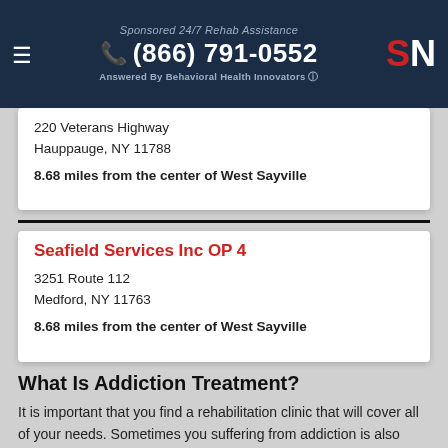Sponsored 24/7 Rehab Assistance (866) 791-0552 Answered By Behavioral Health Innovators
220 Veterans Highway
Hauppauge, NY 11788
8.68 miles from the center of West Sayville
Seafield Services Inc OP 4
3251 Route 112
Medford, NY 11763
8.68 miles from the center of West Sayville
What Is Addiction Treatment?
It is important that you find a rehabilitation clinic that will cover all of your needs. Sometimes you suffering from addiction is also suffering from other mental health